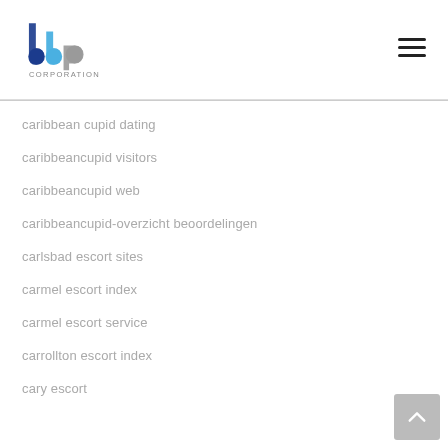[Figure (logo): BBP Corporation logo with blue and grey lettering]
caribbean cupid dating
caribbeancupid visitors
caribbeancupid web
caribbeancupid-overzicht beoordelingen
carlsbad escort sites
carmel escort index
carmel escort service
carrollton escort index
cary escort